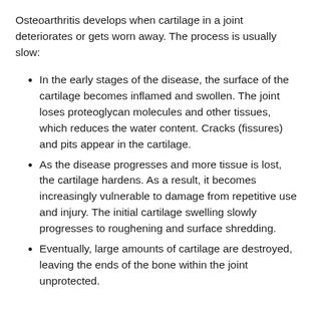Osteoarthritis develops when cartilage in a joint deteriorates or gets worn away. The process is usually slow:
In the early stages of the disease, the surface of the cartilage becomes inflamed and swollen. The joint loses proteoglycan molecules and other tissues, which reduces the water content. Cracks (fissures) and pits appear in the cartilage.
As the disease progresses and more tissue is lost, the cartilage hardens. As a result, it becomes increasingly vulnerable to damage from repetitive use and injury. The initial cartilage swelling slowly progresses to roughening and surface shredding.
Eventually, large amounts of cartilage are destroyed, leaving the ends of the bone within the joint unprotected.